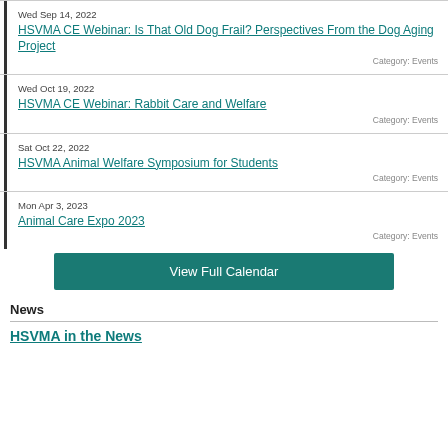Wed Sep 14, 2022
HSVMA CE Webinar: Is That Old Dog Frail? Perspectives From the Dog Aging Project
Category: Events
Wed Oct 19, 2022
HSVMA CE Webinar: Rabbit Care and Welfare
Category: Events
Sat Oct 22, 2022
HSVMA Animal Welfare Symposium for Students
Category: Events
Mon Apr 3, 2023
Animal Care Expo 2023
Category: Events
View Full Calendar
News
HSVMA in the News